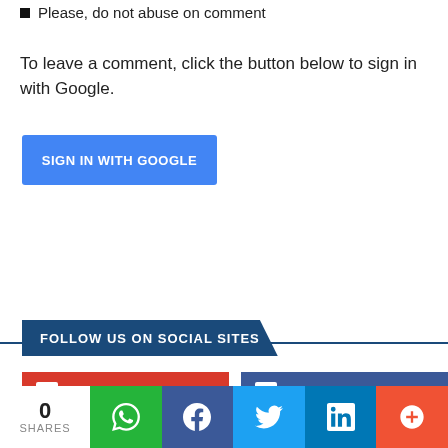Please, do not abuse on comment
To leave a comment, click the button below to sign in with Google.
[Figure (other): Blue 'SIGN IN WITH GOOGLE' button]
FOLLOW US ON SOCIAL SITES
[Figure (other): Google Plus and Facebook social buttons partially visible]
0 SHARES | WhatsApp | Facebook | Twitter | LinkedIn | More